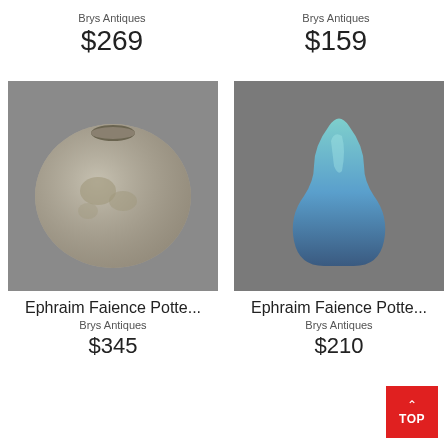Brys Antiques
$269
Brys Antiques
$159
[Figure (photo): Ephraim Faience pottery round jar/vase with bird relief decoration, matte gray-green glaze, on gray background]
[Figure (photo): Ephraim Faience pottery tall slender vase with turquoise to blue matte glaze, on gray background]
Ephraim Faience Potte...
Brys Antiques
$345
Ephraim Faience Potte...
Brys Antiques
$210